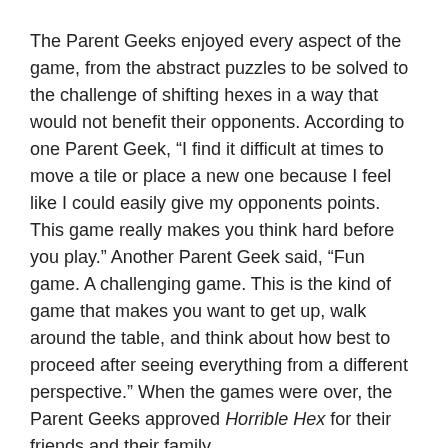The Parent Geeks enjoyed every aspect of the game, from the abstract puzzles to be solved to the challenge of shifting hexes in a way that would not benefit their opponents. According to one Parent Geek, “I find it difficult at times to move a tile or place a new one because I feel like I could easily give my opponents points. This game really makes you think hard before you play.” Another Parent Geek said, “Fun game. A challenging game. This is the kind of game that makes you want to get up, walk around the table, and think about how best to proceed after seeing everything from a different perspective.” When the games were over, the Parent Geeks approved Horrible Hex for their friends and their family.
The Gamer Geeks liked what the game was about and the comments of the participants had to get into the...